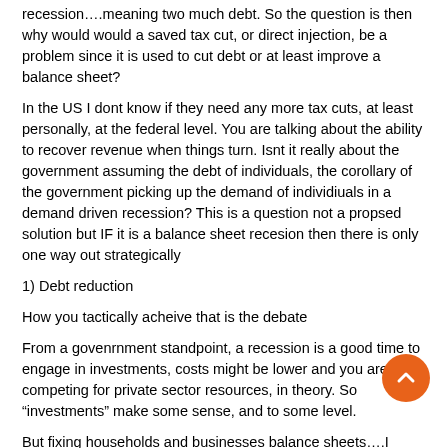recession….meaning two much debt. So the question is then why would would a saved tax cut, or direct injection, be a problem since it is used to cut debt or at least improve a balance sheet?
In the US I dont know if they need any more tax cuts, at least personally, at the federal level. You are talking about the ability to recover revenue when things turn. Isnt it really about the government assuming the debt of individuals, the corollary of the government picking up the demand of individiuals in a demand driven recession? This is a question not a propsed solution but IF it is a balance sheet recesion then there is only one way out strategically
1) Debt reduction
How you tactically acheive that is the debate
From a govenrnment standpoint, a recession is a good time to engage in investments, costs might be lower and you arent competing for private sector resources, in theory. So “investments” make some sense, and to some level.
But fixing households and businesses balance sheets….I guess I questioning whether infrastructure spending fixes that.
One wonders if there should be “debt stamps” that te government puts out there based on income for people to